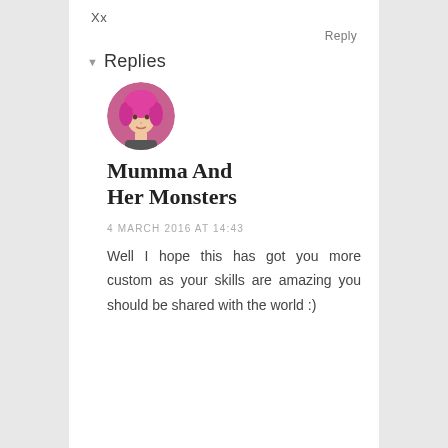Xx
Reply
Replies
[Figure (photo): Round avatar photo of a person with bright pink hair]
Mumma And Her Monsters
4 MARCH 2016 AT 14:43
Well I hope this has got you more custom as your skills are amazing you should be shared with the world :)